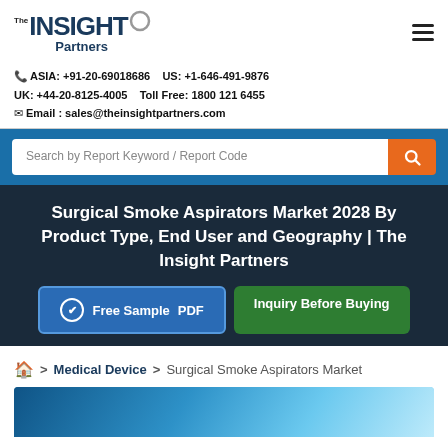[Figure (logo): The Insight Partners logo — 'The INSIGHT Partners' in navy/dark blue, with a circle accent on the I, and hamburger menu icon top right]
📞 ASIA: +91-20-69018686    US: +1-646-491-9876
UK: +44-20-8125-4005    Toll Free: 1800 121 6455
✉ Email : sales@theinsightpartners.com
Search by Report Keyword / Report Code
Surgical Smoke Aspirators Market 2028 By Product Type, End User and Geography | The Insight Partners
Free Sample PDF
Inquiry Before Buying
🏠 > Medical Device > Surgical Smoke Aspirators Market
[Figure (photo): Bottom partial image, blue/teal medical-themed background photo, partially visible]